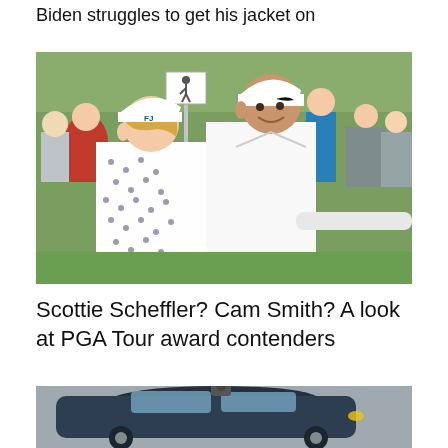Biden struggles to get his jacket on
[Figure (photo): Two golfers in white caps walking side by side on a golf course with spectators in the background. Left golfer wears a patterned shirt with FJ cap, right golfer wears a white polo with Nike cap.]
Scottie Scheffler? Cam Smith? A look at PGA Tour award contenders
[Figure (photo): Partial view of a dark car on a road or parking area, cut off at bottom of page.]